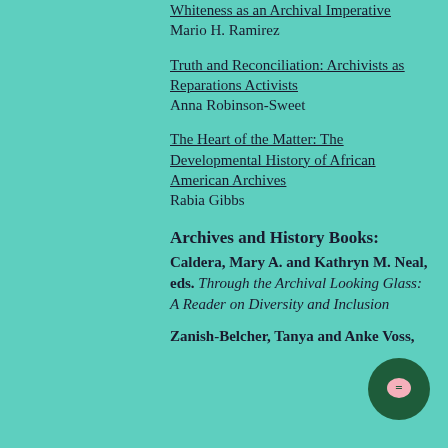Whiteness as an Archival Imperative
Mario H. Ramirez
Truth and Reconciliation: Archivists as Reparations Activists
Anna Robinson-Sweet
The Heart of the Matter: The Developmental History of African American Archives
Rabia Gibbs
Archives and History Books:
Caldera, Mary A. and Kathryn M. Neal, eds. Through the Archival Looking Glass: A Reader on Diversity and Inclusion
Zanish-Belcher, Tanya and Anke Voss,